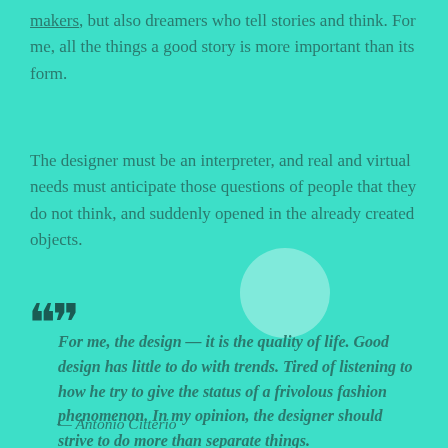makers, but also dreamers who tell stories and think. For me, all the things a good story is more important than its form.
The designer must be an interpreter, and real and virtual needs must anticipate those questions of people that they do not think, and suddenly opened in the already created objects.
[Figure (illustration): A light semi-transparent white circle decorative element]
For me, the design — it is the quality of life. Good design has little to do with trends. Tired of listening to how he try to give the status of a frivolous fashion phenomenon. In my opinion, the designer should strive to do more than separate things.
— Antonio Citterio